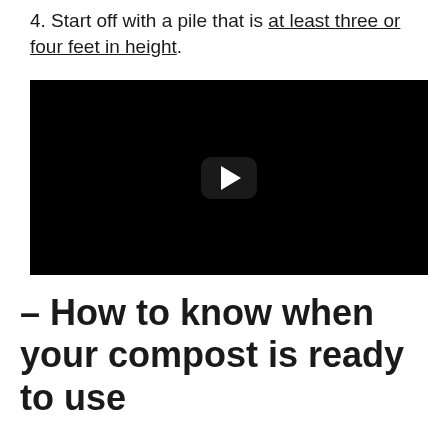4. Start off with a pile that is at least three or four feet in height.
[Figure (screenshot): Embedded video player with black background and a YouTube-style play button in the center.]
– How to know when your compost is ready to use